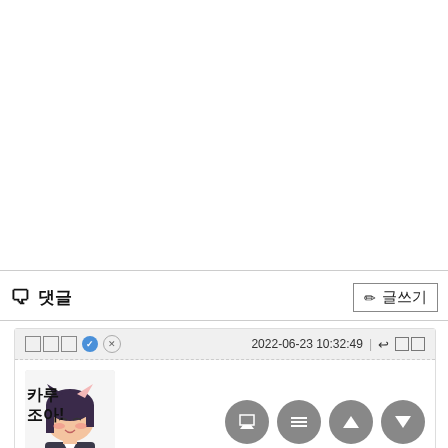[Figure (illustration): Large white blank area at the top of the page]
댓글
글쓰기
| 댓글닉네임 | 2022-06-23 10:32:49 | 답글 | 카루 조아! |